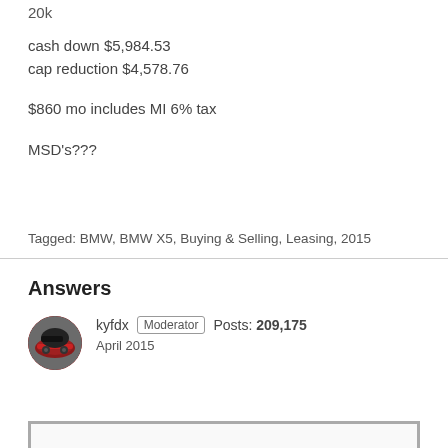20k
cash down $5,984.53
cap reduction $4,578.76
$860 mo includes MI 6% tax
MSD's???
Tagged: BMW, BMW X5, Buying & Selling, Leasing, 2015
Answers
kyfdx  Moderator  Posts: 209,175
April 2015